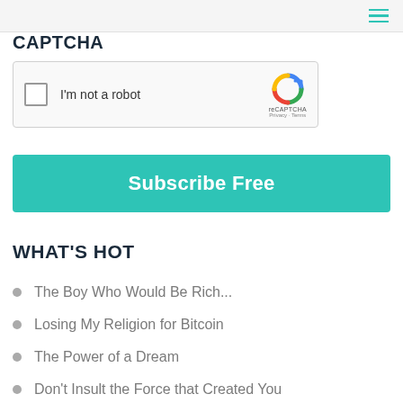CAPTCHA
[Figure (other): reCAPTCHA widget with checkbox labeled 'I'm not a robot' and reCAPTCHA logo with Privacy and Terms links]
Subscribe Free
WHAT'S HOT
The Boy Who Would Be Rich...
Losing My Religion for Bitcoin
The Power of a Dream
Don't Insult the Force that Created You